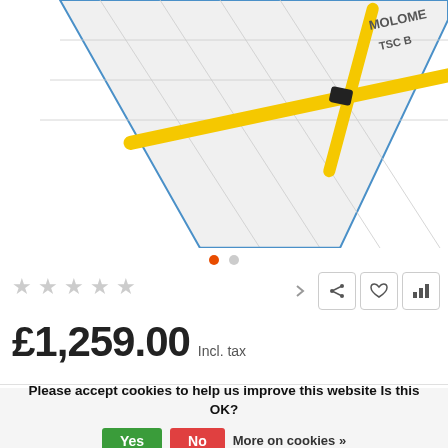[Figure (photo): Product photo of a yellow-framed windsurfing sail/rig with white sail and blue outline, partially visible from top, on white background. Text on sail includes 'MOLOME' and 'TSC B'.]
★ ★ ★ ★ ★
£1,259.00 Incl. tax
Please accept cookies to help us improve this website Is this OK?  Yes  No  More on cookies »